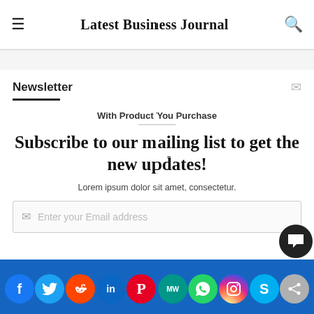Latest Business Journal
Newsletter
With Product You Purchase
Subscribe to our mailing list to get the new updates!
Lorem ipsum dolor sit amet, consectetur.
Enter your Email address
Social share bar: Facebook, Twitter, Reddit, LinkedIn, Pinterest, MeWe, WhatsApp, Instagram, Skype, Share